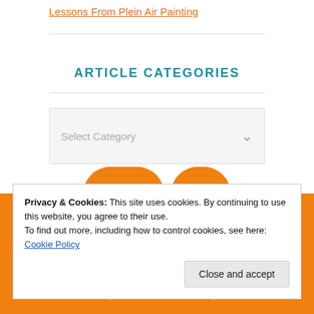Lessons From Plein Air Painting
ARTICLE CATEGORIES
Select Category
Privacy Policy | Terms of Use | Contact Us
Member of the International Fellowship of Evangelical
Fellowship/USA and its affiliated companies.
Privacy & Cookies: This site uses cookies. By continuing to use this website, you agree to their use.
To find out more, including how to control cookies, see here: Cookie Policy
Close and accept